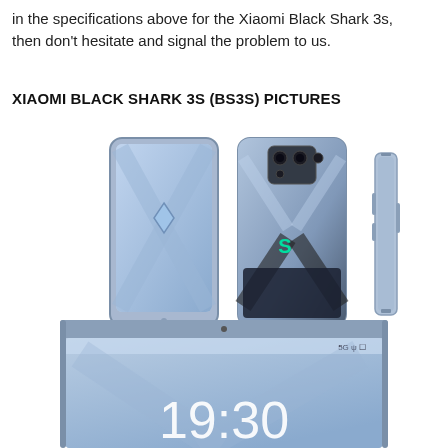in the specifications above for the Xiaomi Black Shark 3s, then don't hesitate and signal the problem to us.
XIAOMI BLACK SHARK 3S (BS3S) PICTURES
[Figure (photo): Three views of the Xiaomi Black Shark 3s smartphone: front view showing the screen with an X pattern, back view showing camera module and Black Shark logo, and side profile view. The phone has a blue metallic finish.]
[Figure (photo): Close-up front view of the Xiaomi Black Shark 3s smartphone showing the display with time 19:30, status bar with 5G and battery icons, and the top bezel with front camera.]